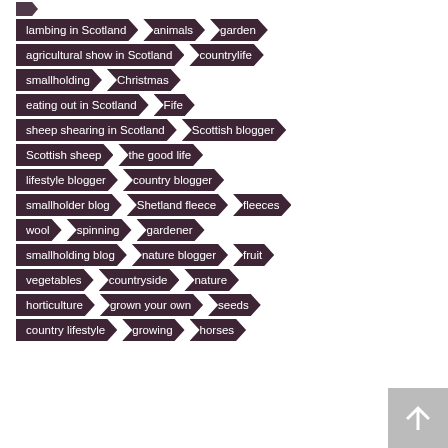lambing in Scotland
animals
garden
agricultural show in Scotland
countrylife
smallholding
Christmas
eating out in Scotland
Fife
sheep shearing in Scotland
Scottish blogger
Scottish sheep
the good life
lifestyle blogger
country blogger
smallholder blog
Shetland fleece
fleeces
wool
spinning
gardener
smallholding blog
nature blogger
fruit
vegetables
countryside
nature
horticulture
grown your own
seeds
country lifestyle
growing
horses